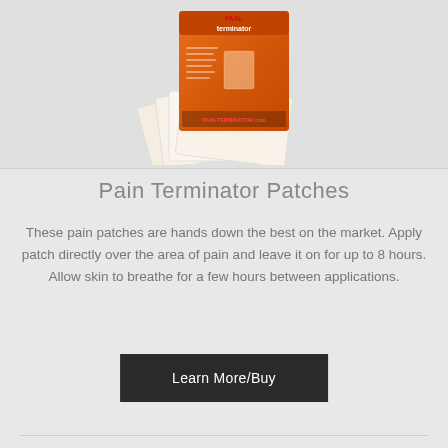[Figure (photo): Product photo of Pain Terminator Patches showing an orange retail box with patches fanned out in front]
Pain Terminator Patches
These pain patches are hands down the best on the market. Apply patch directly over the area of pain and leave it on for up to 8 hours. Allow skin to breathe for a few hours between applications.
Learn More/Buy